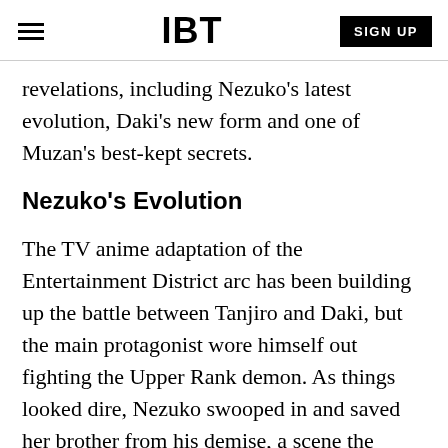IBT | SIGN UP
revelations, including Nezuko's latest evolution, Daki's new form and one of Muzan's best-kept secrets.
Nezuko's Evolution
The TV anime adaptation of the Entertainment District arc has been building up the battle between Tanjiro and Daki, but the main protagonist wore himself out fighting the Upper Rank demon. As things looked dire, Nezuko swooped in and saved her brother from his demise, a scene the fandom is still talking about.